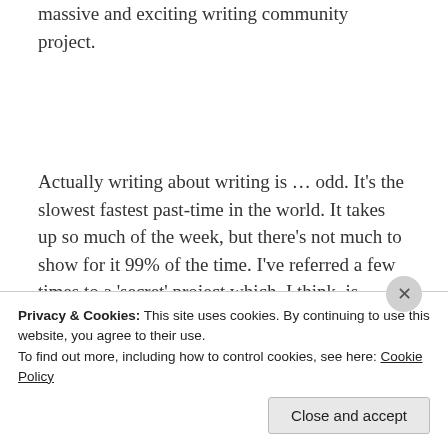massive and exciting writing community project.
Actually writing about writing is … odd. It's the slowest fastest past-time in the world. It takes up so much of the week, but there's not much to show for it 99% of the time. I've referred a few times to a 'secret' project which, I think, is probably at a stage now where it doesn't need to
Privacy & Cookies: This site uses cookies. By continuing to use this website, you agree to their use.
To find out more, including how to control cookies, see here: Cookie Policy
Close and accept